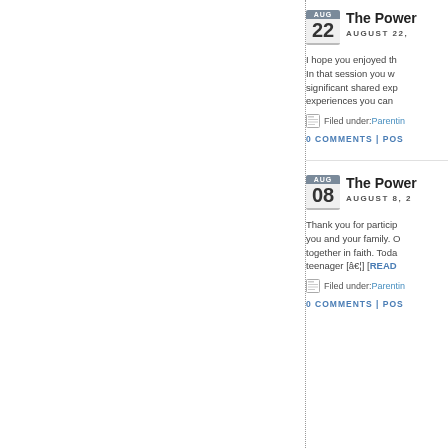The Power
AUGUST 22,
I hope you enjoyed th... In that session you w... significant shared exp... experiences you can
Filed under: Parentin
0 COMMENTS | POS
The Power
AUGUST 8, 2
Thank you for particip... you and your family. O... together in faith. Toda... teenager [â€¦] [READ
Filed under: Parentin
0 COMMENTS | POS